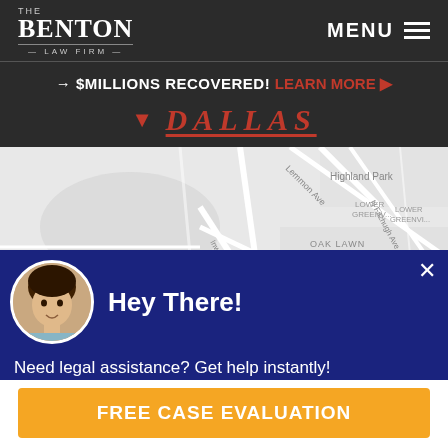The Benton Law Firm | MENU
→ $MILLIONS RECOVERED! LEARN MORE ▶
▼ DALLAS
[Figure (map): Google-style street map of Dallas area showing Oak Lawn, Highland Park, Uptown, Lower Greenville neighborhoods with a red map pin marker and streets including Lemmon Ave, Harry Hines Blvd, Inwood Rd, Maple Ave, N Fitzhugh Ave, Ross Ave, Irving Blvd]
Hey There!
Need legal assistance? Get help instantly!
FREE CASE EVALUATION